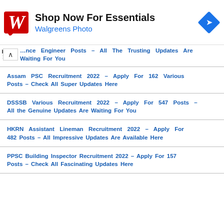[Figure (screenshot): Walgreens Photo advertisement banner with red Walgreens logo on left, 'Shop Now For Essentials' title in bold black text, 'Walgreens Photo' subtitle in blue, and a blue diamond navigation icon on the right]
...nce Engineer Posts – All The Trusting Updates Are Waiting For You
Assam PSC Recruitment 2022 – Apply For 162 Various Posts – Check All Super Updates Here
DSSSB Various Recruitment 2022 – Apply For 547 Posts – All the Genuine Updates Are Waiting For You
HKRN Assistant Lineman Recruitment 2022 – Apply For 482 Posts – All Impressive Updates Are Available Here
PPSC Building Inspector Recruitment 2022 – Apply For 157 Posts – Check All Fascinating Updates Here